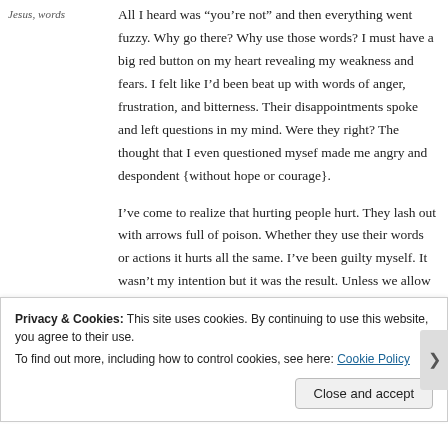Jesus, words
All I heard was “you’re not” and then everything went fuzzy. Why go there? Why use those words? I must have a big red button on my heart revealing my weakness and fears. I felt like I’d been beat up with words of anger, frustration, and bitterness. Their disappointments spoke and left questions in my mind. Were they right? The thought that I even questioned mysef made me angry and despondent {without hope or courage}.
I’ve come to realize that hurting people hurt. They lash out with arrows full of poison. Whether they use their words or actions it hurts all the same. I’ve been guilty myself. It wasn’t my intention but it was the result. Unless we allow the Lord to heal
Privacy & Cookies: This site uses cookies. By continuing to use this website, you agree to their use.
To find out more, including how to control cookies, see here: Cookie Policy
Close and accept